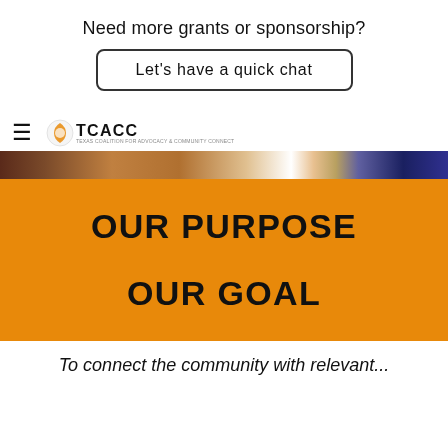Need more grants or sponsorship?
Let's have a quick chat
≡ TCACC
[Figure (photo): A decorative horizontal image strip showing colorful fabric or textile patterns in brown, tan, white, blue, and green colors.]
OUR PURPOSE
OUR GOAL
To connect the community with relevant...